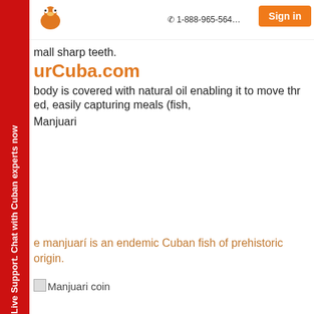1-888-965-564... | Sign in
mall sharp teeth.
urCuba.com
body is covered with natural oil enabling it to move thr
ed, easily capturing meals (fish,
Manjuari
e manjuarí is an endemic Cuban fish of prehistoric origin.
[Figure (other): Manjuari coin image placeholder]
Manjuari coin